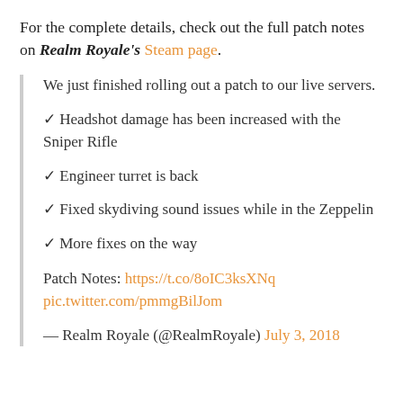For the complete details, check out the full patch notes on Realm Royale's Steam page.
We just finished rolling out a patch to our live servers.
✓ Headshot damage has been increased with the Sniper Rifle
✓ Engineer turret is back
✓ Fixed skydiving sound issues while in the Zeppelin
✓ More fixes on the way
Patch Notes: https://t.co/8oIC3ksXNq pic.twitter.com/pmmgBilJom
— Realm Royale (@RealmRoyale) July 3, 2018